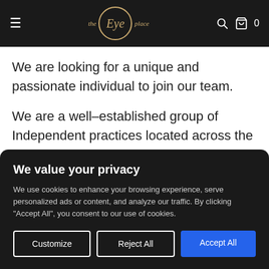the Eye place
We are looking for a unique and passionate individual to join our team.
We are a well–established group of Independent practices located across the UK and are well known for our comprehensive eye examinations, using the latest
We value your privacy
We use cookies to enhance your browsing experience, serve personalized ads or content, and analyze our traffic. By clicking "Accept All", you consent to our use of cookies.
Customize | Reject All | Accept All